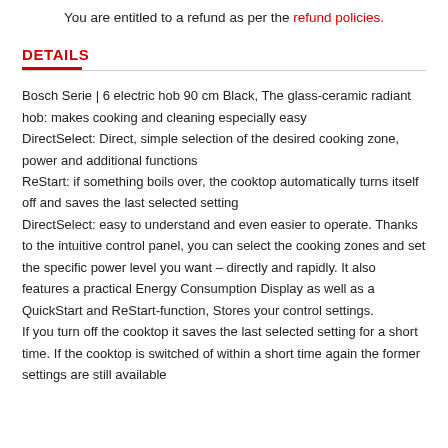You are entitled to a refund as per the refund policies.
DETAILS
Bosch Serie | 6 electric hob 90 cm Black, The glass-ceramic radiant hob: makes cooking and cleaning especially easy
DirectSelect: Direct, simple selection of the desired cooking zone, power and additional functions
ReStart: if something boils over, the cooktop automatically turns itself off and saves the last selected setting
DirectSelect: easy to understand and even easier to operate. Thanks to the intuitive control panel, you can select the cooking zones and set the specific power level you want – directly and rapidly. It also features a practical Energy Consumption Display as well as a QuickStart and ReStart-function, Stores your control settings.
If you turn off the cooktop it saves the last selected setting for a short time. If the cooktop is switched of within a short time again the former settings are still available